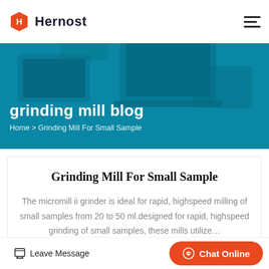Hernost
[Figure (photo): Blue-tinted hero banner photo showing people working at laptops and desks in an office setting]
grinding mill blog
Home > Grinding Mill For Small Sample
Grinding Mill For Small Sample
The micromill ii grinder is ideal for rapid, highspeed milling of small samples from 20 to 50 ml.designed for rapid, highspeed grinding of small samples, these mills utilize…
Leave Message | Chat Online